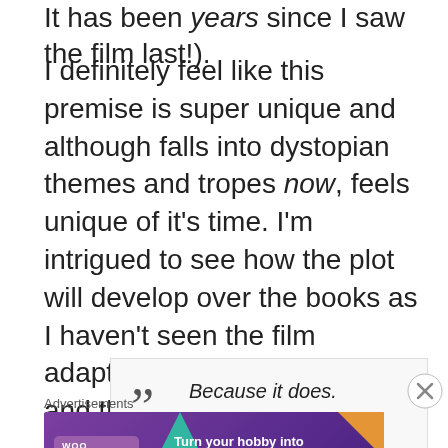It has been years since I saw the film last!).
I definitely feel like this premise is super unique and although falls into dystopian themes and tropes now, feels unique of it's time. I'm intrigued to see how the plot will develop over the books as I haven't seen the film adaptation for The Death Cure and therefore will have no idea where the book goes.
Because it does.
Advertisements
[Figure (other): WooCommerce advertisement banner: purple background with teal and orange decorative shapes, WooCommerce logo on left, text 'Turn your hobby into a business in 8 steps' on right]